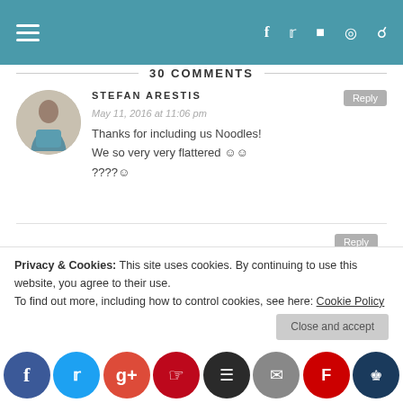Navigation bar with hamburger menu and social icons
30 COMMENTS
STEFAN ARESTIS
May 11, 2016 at 11:06 pm
Thanks for including us Noodles!
We so very very flattered ☺☺
????☺
WHEREISNOODLES
Privacy & Cookies: This site uses cookies. By continuing to use this website, you agree to their use.
To find out more, including how to control cookies, see here: Cookie Policy
Social share bar: Facebook, Twitter, Google+, Pinterest, Buffer, Email, Flipboard, Crown